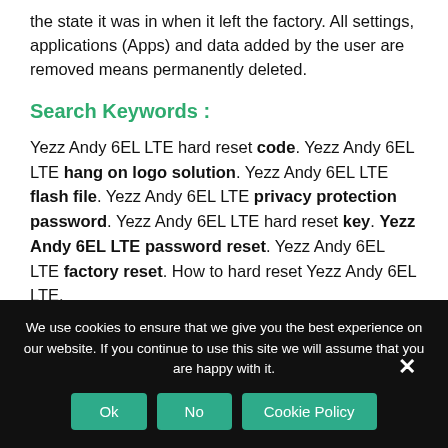the state it was in when it left the factory. All settings, applications (Apps) and data added by the user are removed means permanently deleted.
Search Keywords :
Yezz Andy 6EL LTE hard reset code. Yezz Andy 6EL LTE hang on logo solution. Yezz Andy 6EL LTE flash file. Yezz Andy 6EL LTE privacy protection password. Yezz Andy 6EL LTE hard reset key. Yezz Andy 6EL LTE password reset. Yezz Andy 6EL LTE factory reset. How to hard reset Yezz Andy 6EL LTE.
We use cookies to ensure that we give you the best experience on our website. If you continue to use this site we will assume that you are happy with it.